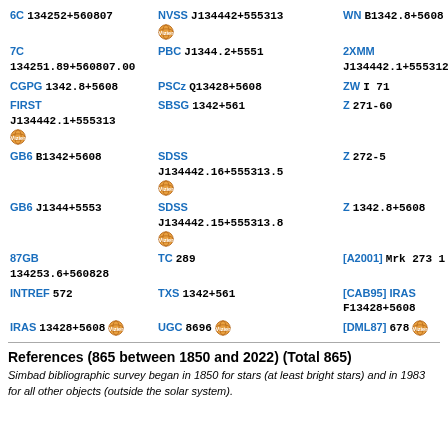| 6C 134252+560807 | NVSS J134442+555313 [vizier] | WN B1342.8+5608 |
| 7C 134251.89+560807.00 | PBC J1344.2+5551 | 2XMM J134442.1+555312 |
| CGPG 1342.8+5608 | PSCz Q13428+5608 | ZW I 71 |
| FIRST J134442.1+555313 [vizier] | SBSG 1342+561 | Z 271-60 |
| GB6 B1342+5608 | SDSS J134442.16+555313.5 [vizier] | Z 272-5 |
| GB6 J1344+5553 | SDSS J134442.15+555313.8 [vizier] | Z 1342.8+5608 |
| 87GB 134253.6+560828 | TC 289 | [A2001] Mrk 273 1 |
| INTREF 572 | TXS 1342+561 | [CAB95] IRAS F13428+5608 |
| IRAS 13428+5608 [vizier] | UGC 8696 [vizier] | [DML87] 678 [vizier] |
References (865 between 1850 and 2022) (Total 865)
Simbad bibliographic survey began in 1850 for stars (at least bright stars) and in 1983 for all other objects (outside the solar system).